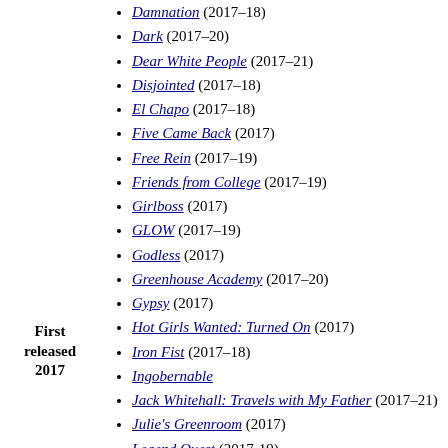Damnation (2017–18)
Dark (2017–20)
Dear White People (2017–21)
Disjointed (2017–18)
El Chapo (2017–18)
Five Came Back (2017)
Free Rein (2017–19)
Friends from College (2017–19)
Girlboss (2017)
GLOW (2017–19)
Godless (2017)
Greenhouse Academy (2017–20)
Gypsy (2017)
Hot Girls Wanted: Turned On (2017)
Iron Fist (2017–18)
Ingobernable
Jack Whitehall: Travels with My Father (2017–21)
Julie's Greenroom (2017)
Legend Quest (2017-19)
Mindhunter (2017–19)
My Only Love Song (2017)
Neo Yokio (2017–18)
One Day at a Time (2017–19)
Ozark (2017–22)
Santa Clarita Diet (2017–18)
First released 2017